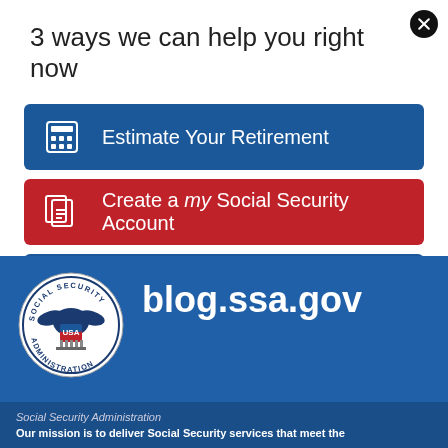3 ways we can help you right now
Estimate Your Retirement
Create a my Social Security Account
Sign up for Blog Updates
No Thanks
Remind Me Later
[Figure (logo): Social Security Administration seal/logo — circular badge with eagle, text 'SOCIAL SECURITY ADMINISTRATION USA']
blog.ssa.gov
Social Security Administration
Our mission is to deliver Social Security services that meet the